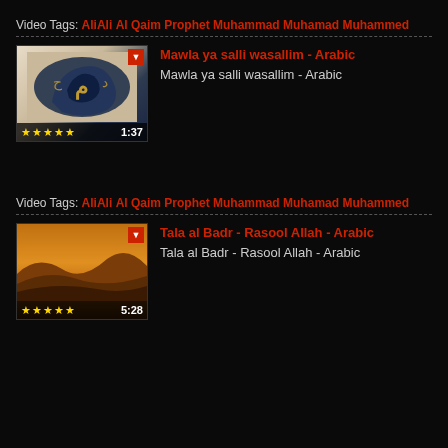Video Tags: AliAli Al Qaim Prophet Muhammad Muhamad Muhammed
[Figure (screenshot): Video thumbnail showing Arabic calligraphy with stars rating and 1:37 duration]
Mawla ya salli wasallim - Arabic
Mawla ya salli wasallim - Arabic
Video Tags: AliAli Al Qaim Prophet Muhammad Muhamad Muhammed
[Figure (screenshot): Video thumbnail showing desert dunes with stars rating and 5:28 duration]
Tala al Badr - Rasool Allah - Arabic
Tala al Badr - Rasool Allah - Arabic